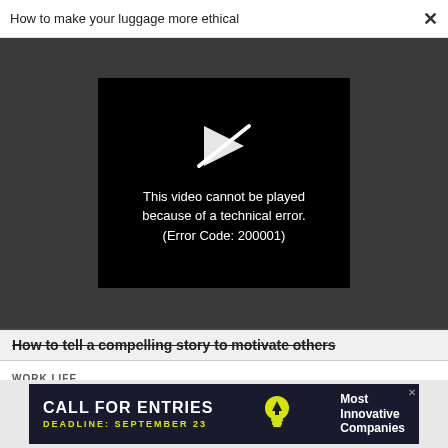How to make your luggage more ethical
[Figure (screenshot): Video player error box on dark grey background showing a broken play button icon and error message: 'This video cannot be played because of a technical error. (Error Code: 200001)']
How to tell a compelling story to motivate others
WORK LIFE
What vacations can reveal about your company's toxic culture
[Figure (infographic): Advertisement banner: 'CALL FOR ENTRIES' with deadline September 23, featuring a lightbulb icon and text 'Most Innovative Companies']